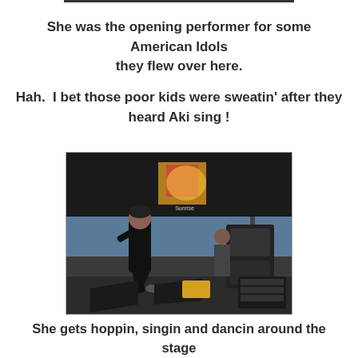She was the opening performer for some American Idols they flew over here.
Hah.  I bet those poor kids were sweatin' after they heard Aki sing !
[Figure (photo): A performer on an outdoor stage under a black canopy tent with colorful logo, dressed in black, appearing to hop or dance energetically. Stage equipment and another person visible in background.]
She gets hoppin, singin and dancin around the stage like someone with their pants on fire.